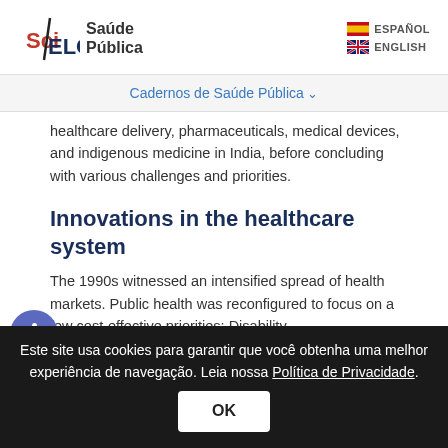SciELO Saúde Pública | ESPAÑOL | ENGLISH
Cadernos de Saúde Pública
healthcare delivery, pharmaceuticals, medical devices, and indigenous medicine in India, before concluding with various challenges and priorities.
Innovations in the healthcare system
The 1990s witnessed an intensified spread of health markets. Public health was reconfigured to focus on a few cost-effective priorities: Disability-
Este site usa cookies para garantir que você obtenha uma melhor experiência de navegação. Leia nossa Política de Privacidade. OK